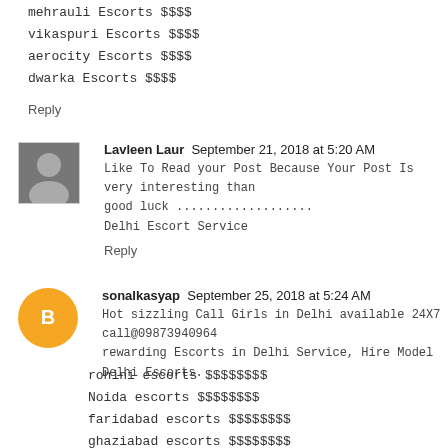mehrauli Escorts $$$$
vikaspuri Escorts $$$$
aerocity Escorts $$$$
dwarka Escorts $$$$
Reply
Lavleen Laur  September 21, 2018 at 5:20 AM
Like To Read your Post Because Your Post Is very interesting than good luck ................. Delhi Escort Service
Reply
sonalkasyap  September 25, 2018 at 5:24 AM
Hot sizzling Call Girls in Delhi available 24X7 call@09873940964 rewarding Escorts in Delhi Service, Hire Model Delhi Escorts.
rohini escorts $$$$$$$$
Noida escorts $$$$$$$$
faridabad escorts $$$$$$$$
ghaziabad escorts $$$$$$$$
Reply